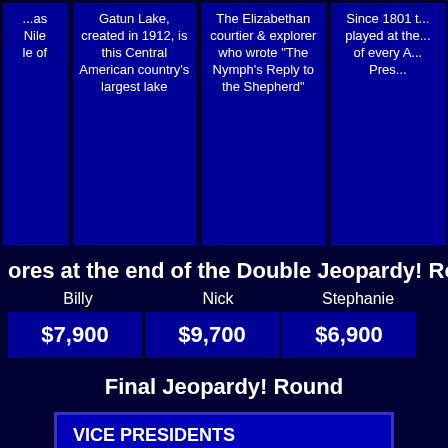[Figure (screenshot): Top portion of Jeopardy game board showing three clue cells: 'Gatun Lake, created in 1912, is this Central American country's largest lake', 'The Elizabethan courtier & explorer who wrote "The Nymph's Reply to the Shepherd"', and a partially visible clue 'Since 1801 t... played at the... of every A... Pres...']
ores at the end of the Double Jeopardy! Round:
| Billy | Nick | Stephanie |
| --- | --- | --- |
| $7,900 | $9,700 | $6,900 |
Final Jeopardy! Round
VICE PRESIDENTS
He was the most recent Democratic Vice President to become President